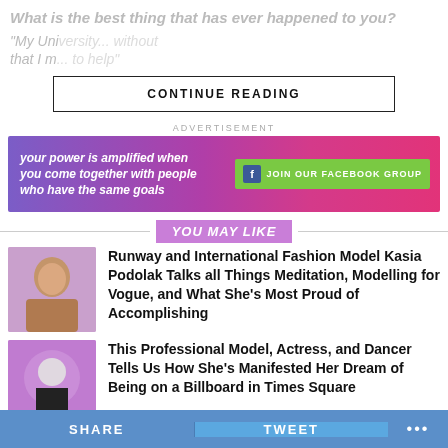What is the best thing that has ever happened to you?
"My University... without that I m... to help"
CONTINUE READING
ADVERTISEMENT
[Figure (infographic): Purple and pink gradient ad banner with text 'your power is amplified when you come together with people who have the same goals' and a green Facebook button 'JOIN OUR FACEBOOK GROUP']
YOU MAY LIKE
[Figure (photo): Thumbnail of a woman model with long hair]
Runway and International Fashion Model Kasia Podolak Talks all Things Meditation, Modelling for Vogue, and What She’s Most Proud of Accomplishing
[Figure (photo): Thumbnail of a woman with short white hair on purple background]
This Professional Model, Actress, and Dancer Tells Us How She’s Manifested Her Dream of Being on a Billboard in Times Square
SHARE   TWEET   •••